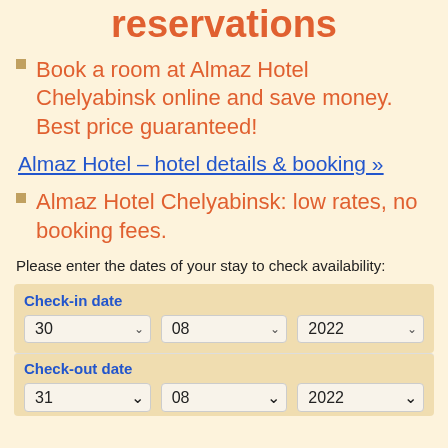reservations
Book a room at Almaz Hotel Chelyabinsk online and save money. Best price guaranteed!
Almaz Hotel – hotel details & booking »
Almaz Hotel Chelyabinsk: low rates, no booking fees.
Please enter the dates of your stay to check availability:
| Check-in date |  |  |
| --- | --- | --- |
| 30 ▾ | 08 ▾ | 2022 ▾ |
| Check-out date |  |  |
| --- | --- | --- |
| 31 ▾ | 08 ▾ | 2022 ▾ |